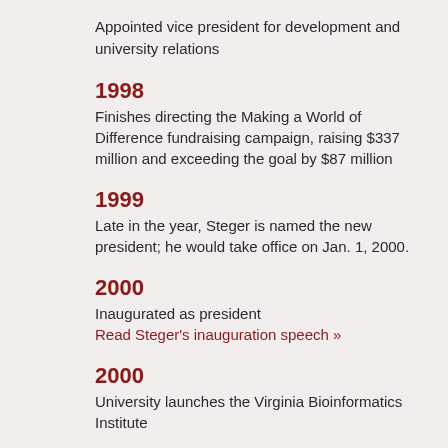Appointed vice president for development and university relations
1998
Finishes directing the Making a World of Difference fundraising campaign, raising $337 million and exceeding the goal by $87 million
1999
Late in the year, Steger is named the new president; he would take office on Jan. 1, 2000.
2000
Inaugurated as president
Read Steger's inauguration speech »
2000
University launches the Virginia Bioinformatics Institute